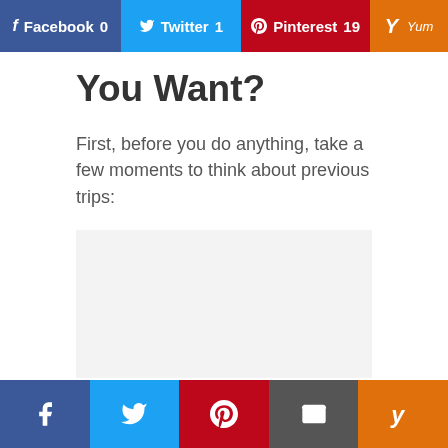Facebook 0  Twitter 1  Pinterest 19  Yum
You Want?
First, before you do anything, take a few moments to think about previous trips:
[Figure (other): Gray placeholder content box]
Facebook  Twitter  Pinterest  Email  Yummly